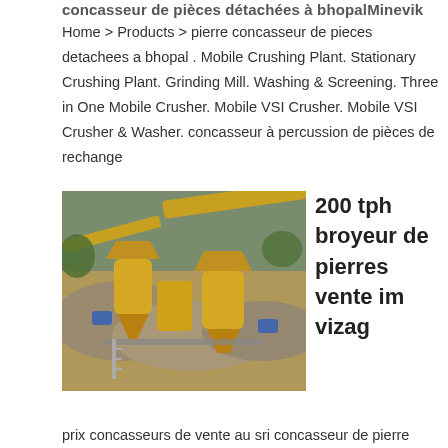concasseur de pièces détachées à bhopal Minevik
Home > Products > pierre concasseur de pieces detachees a bhopal . Mobile Crushing Plant. Stationary Crushing Plant. Grinding Mill. Washing & Screening. Three in One Mobile Crusher. Mobile VSI Crusher. Mobile VSI Crusher & Washer. concasseur à percussion de pièces de rechange
[Figure (photo): Aerial view of a stone crushing plant with yellow cone crushers, conveyor belts, and aggregate piles on a construction site]
200 tph broyeur de pierres vente im vizag
prix concasseurs de vente au sri concasseur de pierre